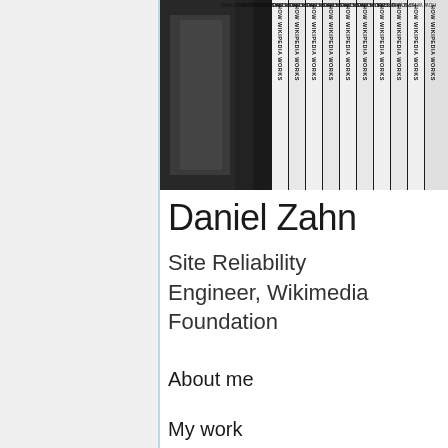[Figure (photo): A bookshelf photo showing multiple copies of books with 'HOW WIKIPEDIA WORKS' printed vertically on their spines, in black and white/dark tones, blurred/bokeh effect in background]
Daniel Zahn
Site Reliability Engineer, Wikimedia Foundation
About me
My work